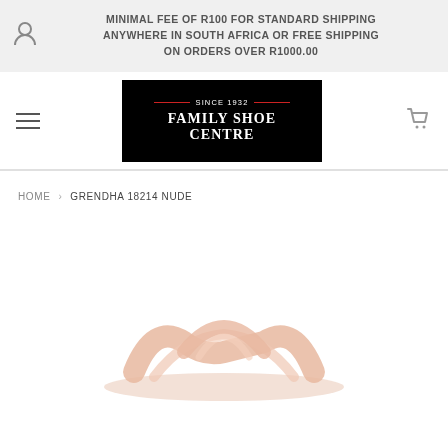MINIMAL FEE OF R100 FOR STANDARD SHIPPING ANYWHERE IN SOUTH AFRICA OR FREE SHIPPING ON ORDERS OVER R1000.00
[Figure (logo): Family Shoe Centre logo on black background with 'SINCE 1932' text and red decorative lines]
HOME › GRENDHA 18214 NUDE
[Figure (photo): Nude/pink Grendha sandal shoe partially visible at bottom of page]